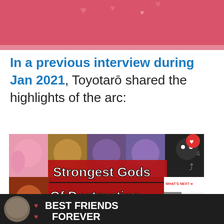[Figure (photo): Pink/red banner with hearts and a dog photo in top right, with a watermark icon bottom right]
In a previous interview during Jan 2021, Toyotarō shared the highlights of the arc:
[Figure (screenshot): Screenshot of a YouTube thumbnail showing Dragon Ball Super Gods of Destruction characters with text 'Strongest Gods Of Destruction', with social sharing icons (heart=4, share), and a 'WHAT'S NEXT' panel showing Dragon Ball Super's...]
[Figure (photo): Bottom advertisement banner: Best Friends Forever with cat photo, hearts, and a watermark]